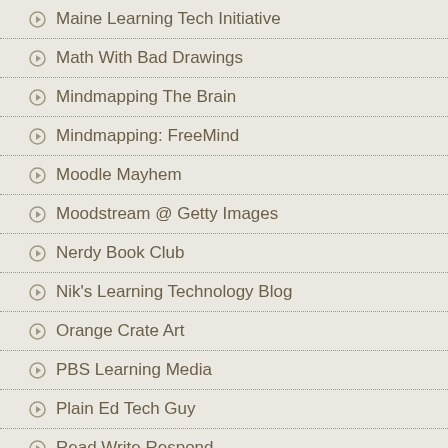Maine Learning Tech Initiative
Math With Bad Drawings
Mindmapping The Brain
Mindmapping: FreeMind
Moodle Mayhem
Moodstream @ Getty Images
Nerdy Book Club
Nik's Learning Technology Blog
Orange Crate Art
PBS Learning Media
Plain Ed Tech Guy
Read Write Respond
Round Rock Tech Guy
Smartblog on Education
Stretching Forward
TBL...